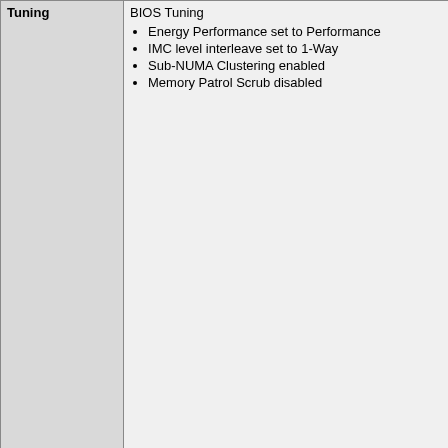| Tuning | BIOS Tuning |
| --- | --- |
| Tuning | BIOS Tuning
• Energy Performance set to Performance
• IMC level interleave set to 1-Way
• Sub-NUMA Clustering enabled
• Memory Patrol Scrub disabled |
| Notes | None |
|  | echo 40000 > /proc/sys/kernel/s...
echo 40000 > /proc/sys/kernel/s...
echo 128 > /proc/s...
echo 950000 > /proc/sys/kernel/s...
echo 400000 > /proc/sys/kernel/s...
echo 10000 > /proc/sys/vm/dirty_...
echo 1500 > /proc/sys/vm/dirty_...
echo 40 > /proc/sy...
echo 10 > /proc/sy...
echo 10 > /proc/sy...
echo 0 > /proc/sys...
echo always > /sys/kernel/mm/tra...
echo always > /sys/kernel/mm/tra... |
| Notes | None |
JVM Instance jvm_0
| Parts of Benchmark |  |
| --- | --- |
| Parts of Benchmark | Composite |
| JVM | jvm_1 |